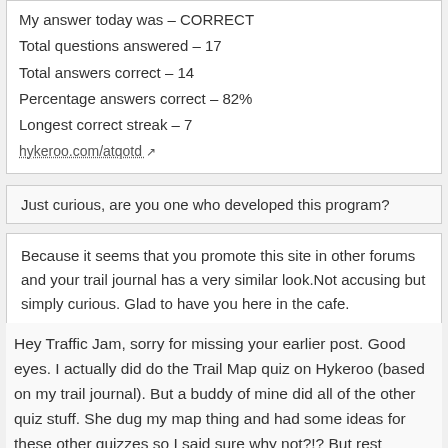My answer today was – CORRECT
Total questions answered – 17
Total answers correct – 14
Percentage answers correct – 82%
Longest correct streak – 7
hykeroo.com/atqotd
Just curious, are you one who developed this program?
Because it seems that you promote this site in other forums and your trail journal has a very similar look.Not accusing but simply curious. Glad to have you here in the cafe.
Hey Traffic Jam, sorry for missing your earlier post. Good eyes. I actually did do the Trail Map quiz on Hykeroo (based on my trail journal). But a buddy of mine did all of the other quiz stuff. She dug my map thing and had some ideas for these other quizzes so I said sure why not?!? But rest assured I'm not peeking at her answers when I play 😄 .
Speaking of which, here's where I'm at:
Wasn't there another sign question JUST the other day in the same area?
🔲 AT Question Of The Day – Mar 30, 2022 🔲